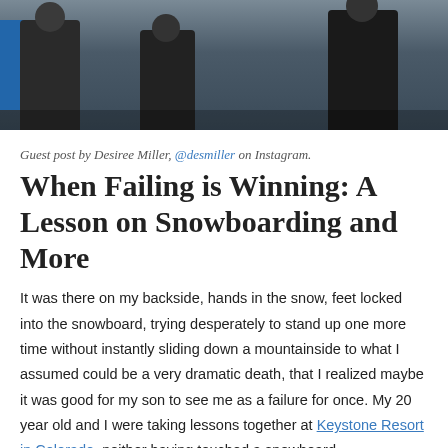[Figure (photo): Two or three people standing outdoors in winter gear, possibly at a ski resort, with dark clothing and equipment visible.]
Guest post by Desiree Miller, @desmiller on Instagram.
When Failing is Winning: A Lesson on Snowboarding and More
It was there on my backside, hands in the snow, feet locked into the snowboard, trying desperately to stand up one more time without instantly sliding down a mountainside to what I assumed could be a very dramatic death, that I realized maybe it was good for my son to see me as a failure for once. My 20 year old and I were taking lessons together at Keystone Resort in Colorado, neither having touched a snowboard